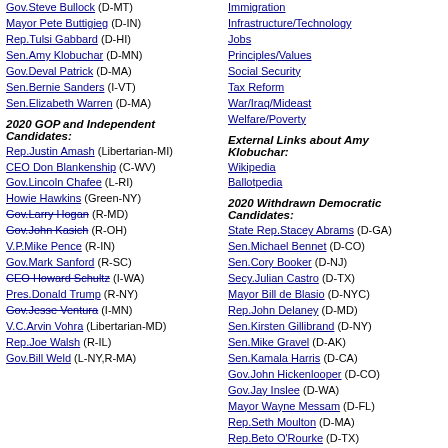Gov.Steve Bullock (D-MT)
Mayor Pete Buttigieg (D-IN)
Rep.Tulsi Gabbard (D-HI)
Sen.Amy Klobuchar (D-MN)
Gov.Deval Patrick (D-MA)
Sen.Bernie Sanders (I-VT)
Sen.Elizabeth Warren (D-MA)
2020 GOP and Independent Candidates:
Rep.Justin Amash (Libertarian-MI)
CEO Don Blankenship (C-WV)
Gov.Lincoln Chafee (L-RI)
Howie Hawkins (Green-NY)
Gov.Larry Hogan (R-MD) [strikethrough]
Gov.John Kasich (R-OH) [strikethrough]
V.P.Mike Pence (R-IN)
Gov.Mark Sanford (R-SC)
CEO Howard Schultz (I-WA) [strikethrough]
Pres.Donald Trump (R-NY)
Gov.Jesse Ventura (I-MN) [strikethrough]
V.C.Arvin Vohra (Libertarian-MD)
Rep.Joe Walsh (R-IL)
Gov.Bill Weld (L-NY,R-MA)
Immigration
Infrastructure/Technology
Jobs
Principles/Values
Social Security
Tax Reform
War/Iraq/Mideast
Welfare/Poverty
External Links about Amy Klobuchar:
Wikipedia
Ballotpedia
2020 Withdrawn Democratic Candidates:
State Rep.Stacey Abrams (D-GA)
Sen.Michael Bennet (D-CO)
Sen.Cory Booker (D-NJ)
Secy.Julian Castro (D-TX)
Mayor Bill de Blasio (D-NYC)
Rep.John Delaney (D-MD)
Sen.Kirsten Gillibrand (D-NY)
Sen.Mike Gravel (D-AK)
Sen.Kamala Harris (D-CA)
Gov.John Hickenlooper (D-CO)
Gov.Jay Inslee (D-WA)
Mayor Wayne Messam (D-FL)
Rep.Seth Moulton (D-MA)
Rep.Beto O'Rourke (D-TX)